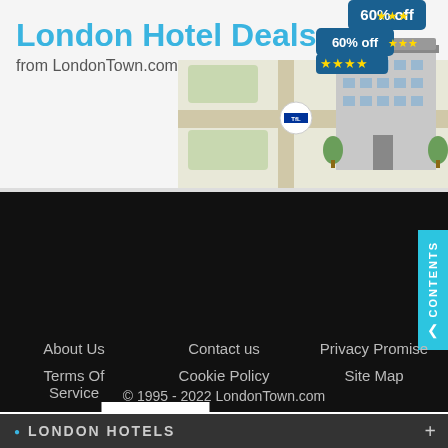London Hotel Deals
from LondonTown.com
[Figure (illustration): Illustrated hotel building with map background, '60% off' discount badges and star ratings in blue speech bubbles, London Underground roundel on the map]
[Figure (infographic): White box with '27 YEARS' in large black text next to 'THE LONDON EXPERTS' in white bold text on black background]
About Us
Contact us
Privacy Promise
Terms Of Service
Cookie Policy
Site Map
© 1995 - 2022 LondonTown.com
LONDON HOTELS